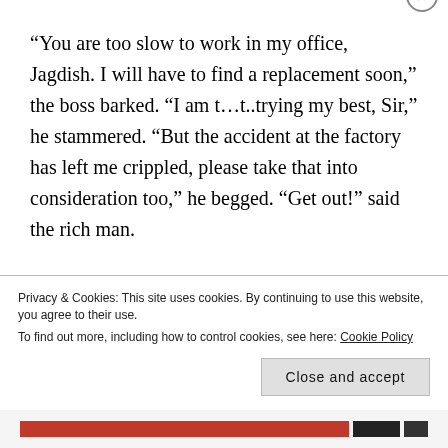“You are too slow to work in my office, Jagdish. I will have to find a replacement soon,” the boss barked. “I am t…t..trying my best, Sir,” he stammered. “But the accident at the factory has left me crippled, please take that into consideration too,” he begged. “Get out!” said the rich man.
Jagdish knew he could be released any day. His
Privacy & Cookies: This site uses cookies. By continuing to use this website, you agree to their use.
To find out more, including how to control cookies, see here: Cookie Policy
Close and accept